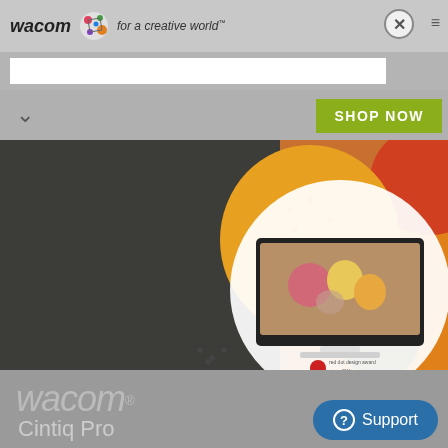wacom for a creative world™
[Figure (screenshot): Wacom website screenshot showing header with logo, search bar, navigation with SHOP NOW button, hero banner with fruit imagery and Cintiq Pro tablet device in circular frame, Wacom Cintiq Pro branding, and Support button]
SHOP NOW
wacom®
Cintiq Pro
Support